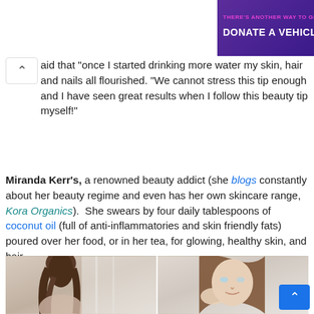[Figure (other): Purple advertisement banner: 'THERE'S ANOTHER WAY TO GIVE! DONATE A VEHICLE' with a green 'GIVE TODAY' button and a white car illustration]
aid that "once I started drinking more water my skin, hair and nails all flourished. "We cannot stress this tip enough and I have seen great results when I follow this beauty tip myself!"
Miranda Kerr's, a renowned beauty addict (she blogs constantly about her beauty regime and even has her own skincare range, Kora Organics). She swears by four daily tablespoons of coconut oil (full of anti-inflammatories and skin friendly fats) poured over her food, or in her tea, for glowing, healthy skin, and hair.
[Figure (photo): Two-panel photo: left panel shows back of a woman with brunette hair in a bright room; right panel shows Miranda Kerr touching her face, smiling]